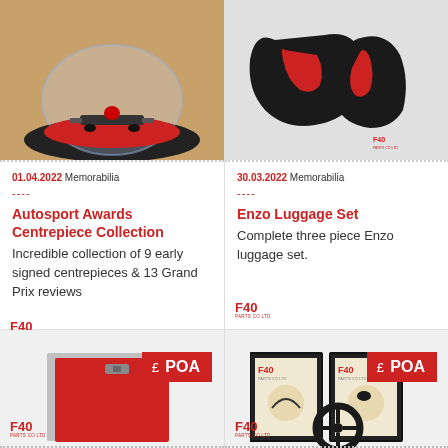[Figure (photo): A Formula 1 model car under a transparent dome/bubble on a red base, displayed on a wooden surface]
01.04.2022 Memorabilia
----
Autosport Awards Centrepiece Collection
Incredible collection of 9 early signed centrepieces & 13 Grand Prix reviews
[Figure (photo): Black and red racing gloves laid flat on a white surface, with F40 Parts logo visible]
30.03.2022 Memorabilia
----
Enzo Luggage Set
Complete three piece Enzo luggage set.
[Figure (photo): Red leather document folder/portfolio with a small metal clasp, displayed on grey background with £ POA price badge]
[Figure (photo): Two framed F40 themed illustrations/prints with a steering wheel in front, displayed on grey background with £ POA price badge]